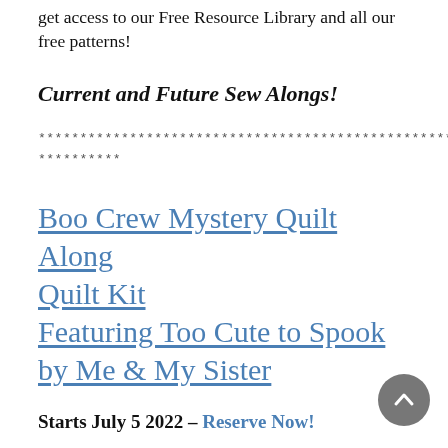get access to our Free Resource Library and all our free patterns!
Current and Future Sew Alongs!
********************************************************** **********
Boo Crew Mystery Quilt Along Quilt Kit Featuring Too Cute to Spook by Me & My Sister
Starts July 5 2022 – Reserve Now!